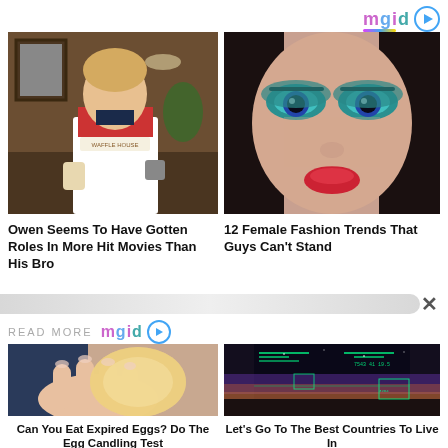[Figure (photo): mgid logo top right with play button icon]
[Figure (photo): Man in red shirt and white apron holding drinks in a restaurant scene]
[Figure (photo): Close-up of woman's face with dramatic teal eye makeup and red lips]
Owen Seems To Have Gotten Roles In More Hit Movies Than His Bro
12 Female Fashion Trends That Guys Can't Stand
READ MORE
[Figure (logo): mgid logo with play button icon]
[Figure (photo): Hand holding an egg against a light source (egg candling)]
[Figure (photo): Cockpit view with HUD display showing night sky and horizon]
Can You Eat Expired Eggs? Do The Egg Candling Test
Let's Go To The Best Countries To Live In